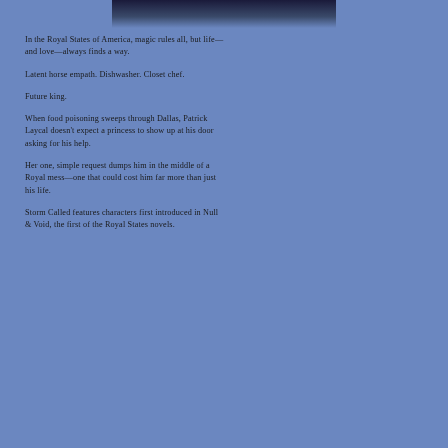[Figure (photo): Top portion of a book cover image with dark fantasy/magical imagery, partially visible at the top of the page]
In the Royal States of America, magic rules all, but life—and love—always finds a way.
Latent horse empath. Dishwasher. Closet chef.
Future king.
When food poisoning sweeps through Dallas, Patrick Laycal doesn't expect a princess to show up at his door asking for his help.
Her one, simple request dumps him in the middle of a Royal mess—one that could cost him far more than just his life.
Storm Called features characters first introduced in Null & Void, the first of the Royal States novels.